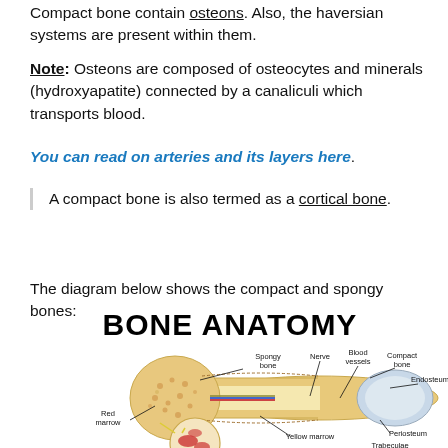Compact bone contain osteons. Also, the Haversian systems are present within them.
Note: Osteons are composed of osteocytes and minerals (hydroxyapatite) connected by a canaliculi which transports blood.
You can read on arteries and its layers here.
A compact bone is also termed as a cortical bone.
The diagram below shows the compact and spongy bones:
BONE ANATOMY
[Figure (illustration): Bone anatomy diagram showing a cross-section of a long bone with labels: Spongy bone, Nerve, Blood vessels, Compact bone, Endosteum, Red marrow, Yellow marrow, Periosteum, Trabeculae]